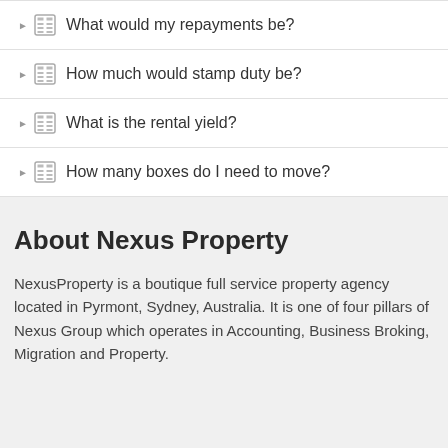What would my repayments be?
How much would stamp duty be?
What is the rental yield?
How many boxes do I need to move?
About Nexus Property
NexusProperty is a boutique full service property agency located in Pyrmont, Sydney, Australia. It is one of four pillars of Nexus Group which operates in Accounting, Business Broking, Migration and Property.